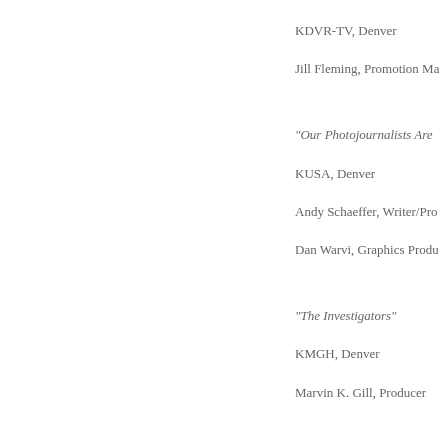KDVR-TV, Denver
Jill Fleming, Promotion Ma
“Our Photojournalists Are
KUSA, Denver
Andy Schaeffer, Writer/Pro
Dan Warvi, Graphics Produ
“The Investigators”
KMGH, Denver
Marvin K. Gill, Producer